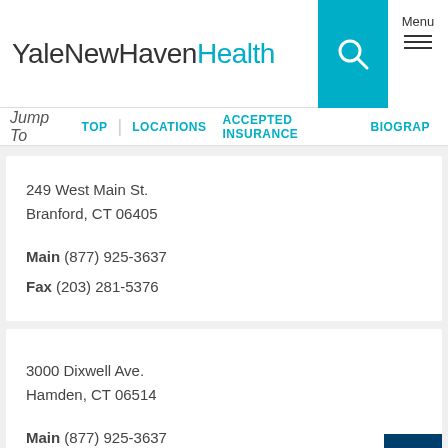YaleNewHavenHealth
Jump To TOP | LOCATIONS ACCEPTED INSURANCE BIOGRAPHY
249 West Main St.
Branford, CT 06405
Main (877) 925-3637
Fax (203) 281-5376
3000 Dixwell Ave.
Hamden, CT 06514
Main (877) 925-3637
Fax (203) 281-5376